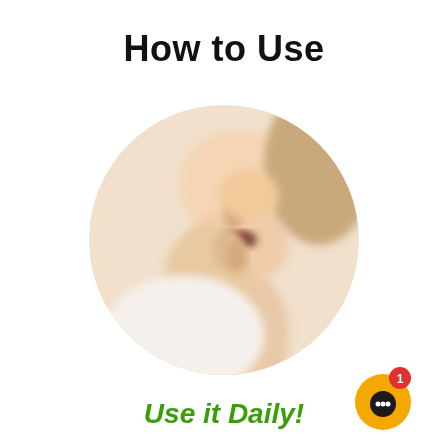How to Use
[Figure (photo): Circular cropped photo of a person applying something to their lips with their fingers, blurred background]
[Figure (other): Orange notification icon with a black circle in the center and a red badge showing the number 1]
Use it Daily!